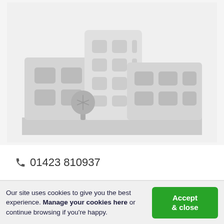[Figure (illustration): Grayscale flat illustration of office/commercial buildings with a tree in front, on a light gray background]
01423 810937
Our site uses cookies to give you the best experience. Manage your cookies here or continue browsing if you're happy.